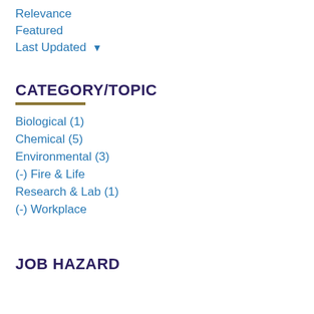Relevance
Featured
Last Updated ▾
CATEGORY/TOPIC
Biological (1)
Chemical (5)
Environmental (3)
(-) Fire & Life
Research & Lab (1)
(-) Workplace
JOB HAZARD